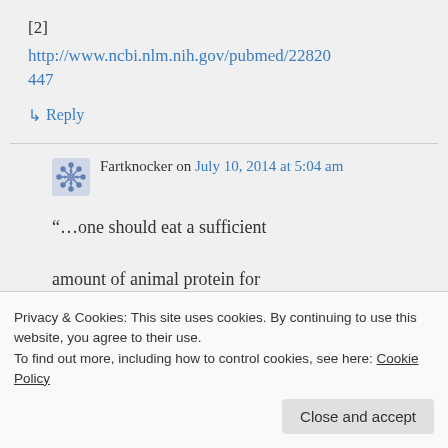[2]
http://www.ncbi.nlm.nih.gov/pubmed/22820447
↳ Reply
Fartknocker on July 10, 2014 at 5:04 am
“…one should eat a sufficient amount of animal protein for
Privacy & Cookies: This site uses cookies. By continuing to use this website, you agree to their use. To find out more, including how to control cookies, see here: Cookie Policy